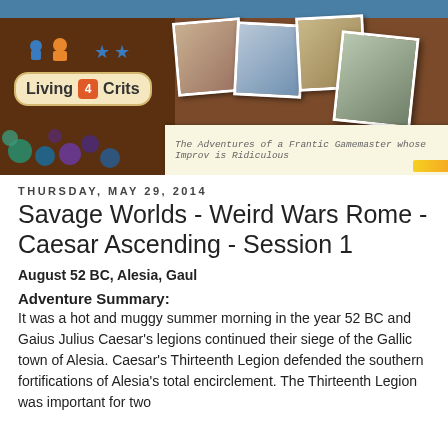[Figure (photo): Living 4 Crits blog banner with logo, polaroid-style photos of people playing games, dice scattered on wooden table, and notepad with tagline 'The Adventures of a Frantic Gamemaster whose Improv is Ridiculous']
Thursday, May 29, 2014
Savage Worlds - Weird Wars Rome - Caesar Ascending - Session 1
August 52 BC, Alesia, Gaul
Adventure Summary:
It was a hot and muggy summer morning in the year 52 BC and Gaius Julius Caesar's legions continued their siege of the Gallic town of Alesia.  Caesar's Thirteenth Legion defended the southern fortifications of Alesia's total encirclement.  The Thirteenth Legion was important for two